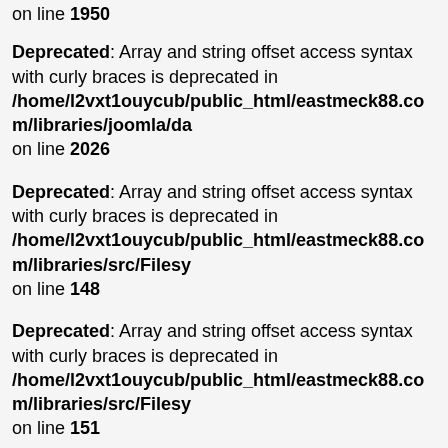on line 1950
Deprecated: Array and string offset access syntax with curly braces is deprecated in /home/l2vxt1ouycub/public_html/eastmeck88.com/libraries/joomla/da on line 2026
Deprecated: Array and string offset access syntax with curly braces is deprecated in /home/l2vxt1ouycub/public_html/eastmeck88.com/libraries/src/Filesy on line 148
Deprecated: Array and string offset access syntax with curly braces is deprecated in /home/l2vxt1ouycub/public_html/eastmeck88.com/libraries/src/Filesy on line 151
Deprecated: Array and string offset access syntax with curly braces is deprecated in /home/l2vxt1ouycub/public_html/eastmeck88.com/libraries/src/Filesy on line 154
Deprecated: Array and string offset access syntax with curly braces is deprecated in /home/l2vxt1ouycub/public_html/eastmeck88.com/libraries/src/Usori